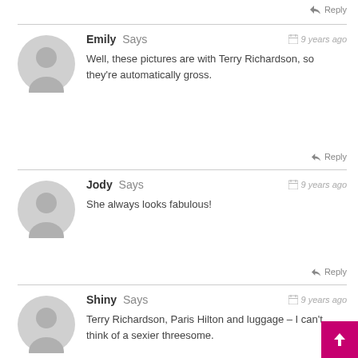↩ Reply
Emily Says — 9 years ago — Well, these pictures are with Terry Richardson, so they're automatically gross. — ↩ Reply
Jody Says — 9 years ago — She always looks fabulous! — ↩ Reply
Shiny Says — 9 years ago — Terry Richardson, Paris Hilton and luggage – I can't think of a sexier threesome. — ↩ Reply